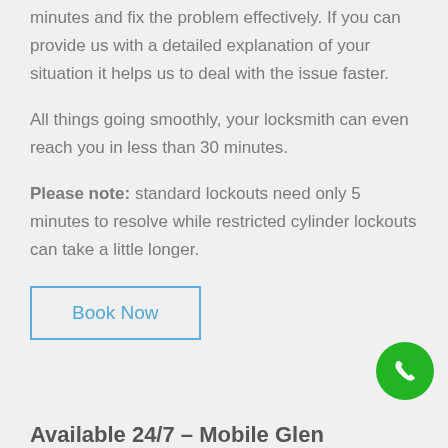minutes and fix the problem effectively. If you can provide us with a detailed explanation of your situation it helps us to deal with the issue faster.
All things going smoothly, your locksmith can even reach you in less than 30 minutes.
Please note: standard lockouts need only 5 minutes to resolve while restricted cylinder lockouts can take a little longer.
[Figure (other): Book Now button - rectangular button with blue border and blue text]
[Figure (other): Green circular phone/call button in bottom right corner]
Available 24/7 – Mobile Glen